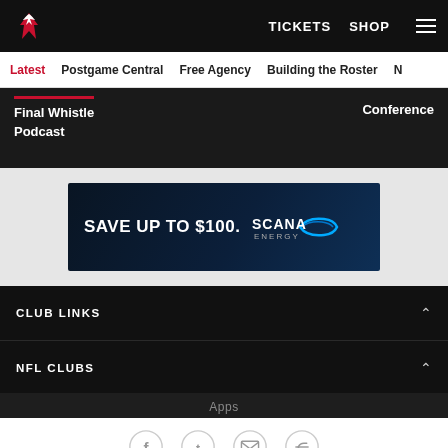Atlanta Falcons — TICKETS  SHOP  [menu]
Latest  Postgame Central  Free Agency  Building the Roster  N...
Final Whistle Podcast
Conference
[Figure (other): SCANA Energy advertisement banner: SAVE UP TO $100. with SCANA ENERGY logo on dark blue background]
CLUB LINKS
NFL CLUBS
MORE NFL SITES
Apps
[Figure (infographic): Social media icons: Facebook, Twitter, Email, hyperlink/share button — four circular outline icons]